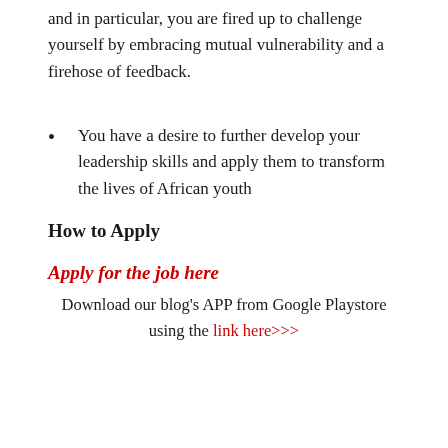and in particular, you are fired up to challenge yourself by embracing mutual vulnerability and a firehose of feedback.
You have a desire to further develop your leadership skills and apply them to transform the lives of African youth
How to Apply
Apply for the job here
Download our blog's APP from Google Playstore using the link here>>>